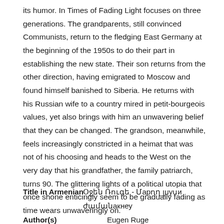its humor. In Times of Fading Light focuses on three generations. The grandparents, still convinced Communists, return to the fledging East Germany at the beginning of the 1950s to do their part in establishing the new state. Their son returns from the other direction, having emigrated to Moscow and found himself banished to Siberia. He returns with his Russian wife to a country mired in petit-bourgeois values, yet also brings with him an unwavering belief that they can be changed. The grandson, meanwhile, feels increasingly constricted in a heimat that was not of his choosing and heads to the West on the very day that his grandfather, the family patriarch, turns 90. The glittering lights of a political utopia that once shone enticingly seem to be gradually fading as time wears unwaveringly on.
Title in Armenian: Օջեն Ռուգե - Մարող լույսի ժամանակները
Author(s): Eugen Ruge
Translator(s): Mariam Gurzadyan